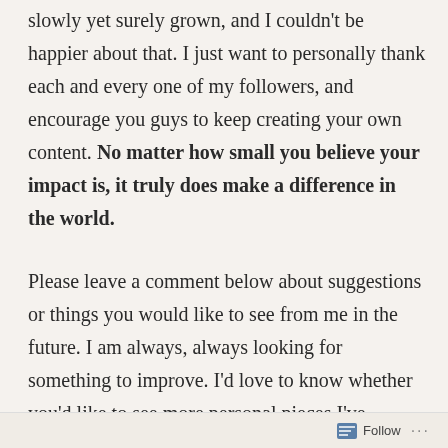slowly yet surely grown, and I couldn't be happier about that. I just want to personally thank each and every one of my followers, and encourage you guys to keep creating your own content. No matter how small you believe your impact is, it truly does make a difference in the world.
Please leave a comment below about suggestions or things you would like to see from me in the future. I am always, always looking for something to improve. I'd love to know whether you'd like to see more personal pieces I've written, more advice, or more on my thoughts of the world in general. As always, you can always send me personal messages through my Contact page. I offer free
Follow ···